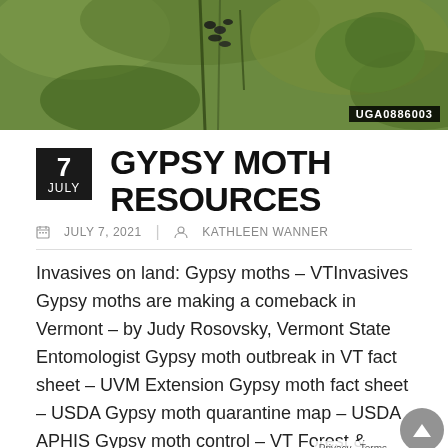[Figure (photo): Outdoor photo showing caterpillars on a plant/tree branch against a green background. A watermark label reads UGA0886003 in the bottom right corner.]
GYPSY MOTH RESOURCES
JULY 7, 2021   KATHLEEN WANNER
Invasives on land: Gypsy moths – VTInvasives Gypsy moths are making a comeback in Vermont – by Judy Rosovsky, Vermont State Entomologist Gypsy moth outbreak in VT fact sheet – UVM Extension Gypsy moth fact sheet – USDA Gypsy moth quarantine map – USDA APHIS Gypsy moth control – VT Forest &...